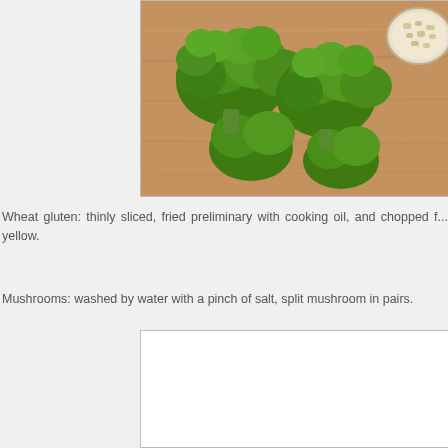[Figure (photo): Broccoli florets on a wooden cutting board with a small bowl of chopped garlic or nuts in the upper right corner]
Wheat gluten: thinly sliced, fried preliminary with cooking oil, and chopped f... yellow.
Mushrooms: washed by water with a pinch of salt, split mushroom in pairs.
[Figure (photo): White/empty image placeholder box]